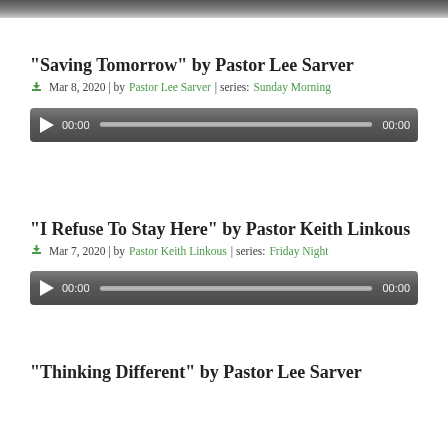[Figure (photo): Top portion of background image showing trees/nature]
“Saving Tomorrow” by Pastor Lee Sarver
Mar 8, 2020 | by Pastor Lee Sarver | series: Sunday Morning
[Figure (other): Audio player widget showing 00:00 / 00:00]
“I Refuse To Stay Here” by Pastor Keith Linkous
Mar 7, 2020 | by Pastor Keith Linkous | series: Friday Night
[Figure (other): Audio player widget showing 00:00 / 00:00]
“Thinking Different” by Pastor Lee Sarver